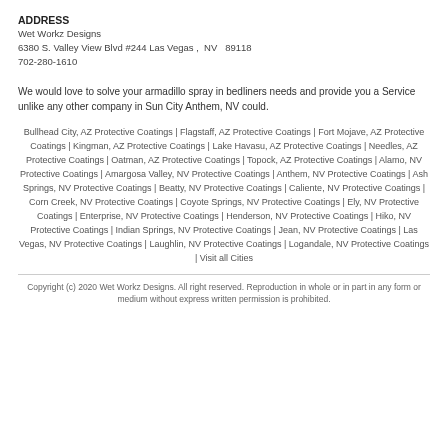ADDRESS
Wet Workz Designs
6380 S. Valley View Blvd #244 Las Vegas ,  NV   89118
702-280-1610
We would love to solve your armadillo spray in bedliners needs and provide you a Service unlike any other company in Sun City Anthem, NV could.
Bullhead City, AZ Protective Coatings | Flagstaff, AZ Protective Coatings | Fort Mojave, AZ Protective Coatings | Kingman, AZ Protective Coatings | Lake Havasu, AZ Protective Coatings | Needles, AZ Protective Coatings | Oatman, AZ Protective Coatings | Topock, AZ Protective Coatings | Alamo, NV Protective Coatings | Amargosa Valley, NV Protective Coatings | Anthem, NV Protective Coatings | Ash Springs, NV Protective Coatings | Beatty, NV Protective Coatings | Caliente, NV Protective Coatings | Corn Creek, NV Protective Coatings | Coyote Springs, NV Protective Coatings | Ely, NV Protective Coatings | Enterprise, NV Protective Coatings | Henderson, NV Protective Coatings | Hiko, NV Protective Coatings | Indian Springs, NV Protective Coatings | Jean, NV Protective Coatings | Las Vegas, NV Protective Coatings | Laughlin, NV Protective Coatings | Logandale, NV Protective Coatings | Visit all Cities
Copyright (c) 2020 Wet Workz Designs. All right reserved. Reproduction in whole or in part in any form or medium without express written permission is prohibited.